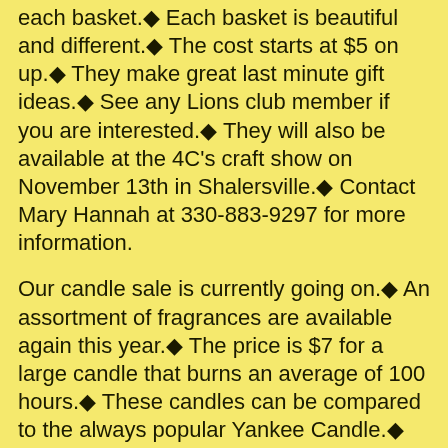each basket.◆ Each basket is beautiful and different.◆ The cost starts at $5 on up.◆ They make great last minute gift ideas.◆ See any Lions club member if you are interested.◆ They will also be available at the 4C's craft show on November 13th in Shalersville.◆ Contact Mary Hannah at 330-883-9297 for more information.
Our candle sale is currently going on.◆ An assortment of fragrances are available again this year.◆ The price is $7 for a large candle that burns an average of 100 hours.◆ These candles can be compared to the always popular Yankee Candle.◆ These are great stocking stuffers.◆ Contact Tom Mesaros at 330-527-4600 or Mary Hannah at 330-833-9297 for more information.◆
Save your used eyeglasses and sunglasses and drop them off at various locations around the community.◆ The boxes are clearly marked with the Lions logo.◆ They are recycled in places that can use them by willing volunteers.◆ The amount of glasses recycled by just the Crestwood Lions Club alone per year is over 1,000 pairs or more.◆ It is truly amazing.